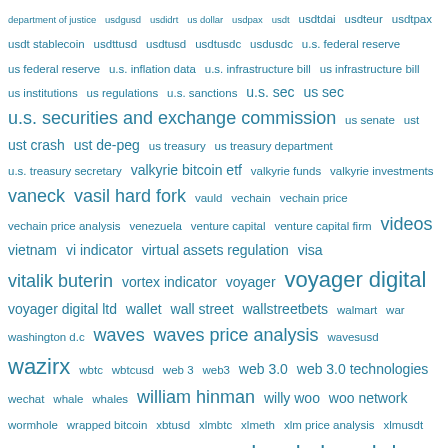department of justice usdgusd usdidrt us dollar usdpax usdt usdtdai usdteur usdtpax usdt stablecoin usdttusd usdtusd usdtusdc usdusdc u.s. federal reserve us federal reserve u.s. inflation data u.s. infrastructure bill us infrastructure bill us institutions us regulations u.s. sanctions u.s. sec us sec u.s. securities and exchange commission us senate ust ust crash ust de-peg us treasury us treasury department u.s. treasury secretary valkyrie bitcoin etf valkyrie funds valkyrie investments vaneck vasil hard fork vauld vechain vechain price vechain price analysis venezuela venture capital venture capital firm videos vietnam vi indicator virtual assets regulation visa vitalik buterin vortex indicator voyager voyager digital voyager digital ltd wallet wall street wallstreetbets walmart war washington d.c waves waves price analysis wavesusd wazirx wbtc wbtcusd web 3 web3 web 3.0 web 3.0 technologies wechat whale whales william hinman willy woo woo network wormhole wrapped bitcoin xbtusd xlmbtc xlmeth xlm price analysis xlmusdt xmr price analysis xrp xrp ath xrpaud xrpbnb xrpbrl xrpbtc xrpcad xrp delisting xrpeth xrpeur xrpgbp xrpkrw xrp lawsuit xrp ledger xrpmxn xrpngn xrppax xrp